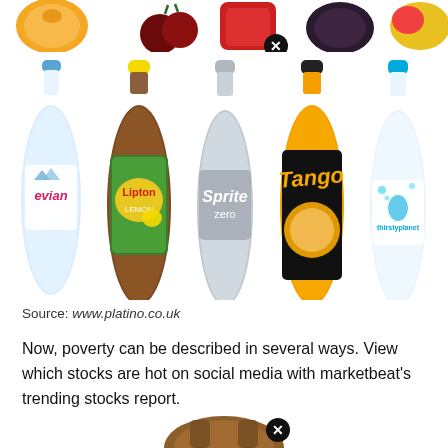[Figure (photo): Partial view of fruit images (oranges, cherries, red berries, dark fruit, mixed fruit) at top of page, with a circular X/close badge visible on the third item]
[Figure (photo): Row of five beverage bottles: Evian water, Lipton Lemon iced tea, Sprite Zero, Tango orange, and Thirsty Planet spring water]
Source: www.platino.co.uk
Now, poverty can be described in several ways. View which stocks are hot on social media with marketbeat's trending stocks report.
[Figure (photo): Partial bottom image showing a brown object (possibly a basket or bag) with a circular X/close badge]